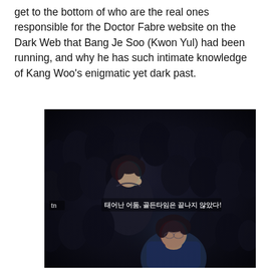get to the bottom of who are the real ones responsible for the Doctor Fabre website on the Dark Web that Bang Je Soo (Kwon Yul) had been running, and why he has such intimate knowledge of Kang Woo's enigmatic yet dark past.
[Figure (photo): A dark dramatic promotional image from a Korean TV drama. Two actors are shown among dark-clad figures. A woman with dark hair wearing a dark jacket is in the upper portion, looking alert with her hand near her face. A man with dark hair in a blue jacket is in the lower portion, resting his chin on his hand with an intense expression. Korean text subtitle reads: 태어난 어둠, 골든타임은 끝나지 않았다! A small 'tn' channel logo appears in the lower left.]